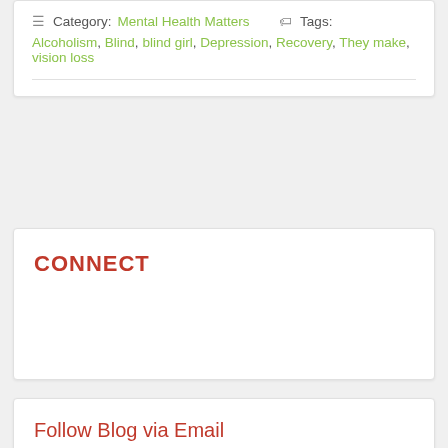Category: Mental Health Matters   Tags: Alcoholism, Blind, blind girl, Depression, Recovery, They make, vision loss
CONNECT
Follow Blog via Email